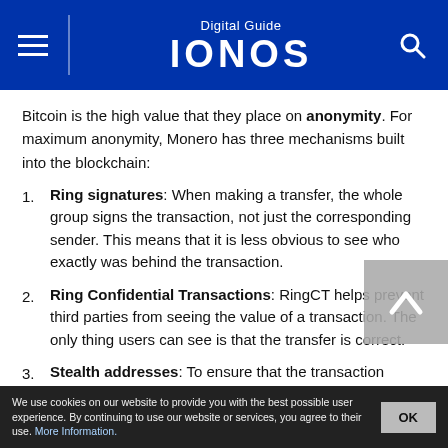Digital Guide IONOS
Bitcoin is the high value that they place on anonymity. For maximum anonymity, Monero has three mechanisms built into the blockchain:
Ring signatures: When making a transfer, the whole group signs the transaction, not just the corresponding sender. This means that it is less obvious to see who exactly was behind the transaction.
Ring Confidential Transactions: RingCT helps prevent third parties from seeing the value of a transaction. The only thing users can see is that the transfer is correct.
Stealth addresses: To ensure that the transaction recipient remains invisible, Monero uses so-called stealth